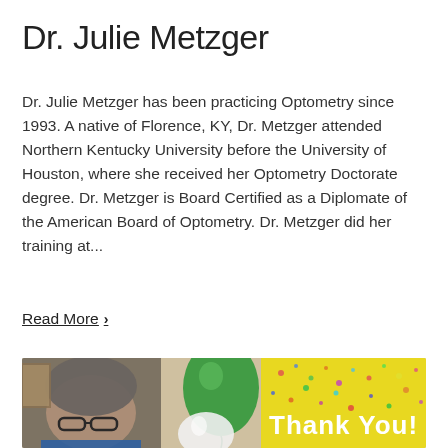Dr. Julie Metzger
Dr. Julie Metzger has been practicing Optometry since 1993. A native of Florence, KY, Dr. Metzger attended Northern Kentucky University before the University of Houston, where she received her Optometry Doctorate degree. Dr. Metzger is Board Certified as a Diplomate of the American Board of Optometry. Dr. Metzger did her training at...
Read More ›
[Figure (photo): Photo of a person taking a selfie holding green and white balloons, with a yellow 'Thank You!' banner visible in the background.]